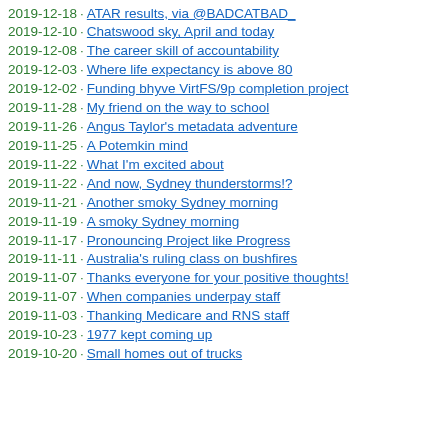2019-12-18 · ATAR results, via @BADCATBAD_
2019-12-10 · Chatswood sky, April and today
2019-12-08 · The career skill of accountability
2019-12-03 · Where life expectancy is above 80
2019-12-02 · Funding bhyve VirtFS/9p completion project
2019-11-28 · My friend on the way to school
2019-11-26 · Angus Taylor's metadata adventure
2019-11-25 · A Potemkin mind
2019-11-22 · What I'm excited about
2019-11-22 · And now, Sydney thunderstorms!?
2019-11-21 · Another smoky Sydney morning
2019-11-19 · A smoky Sydney morning
2019-11-17 · Pronouncing Project like Progress
2019-11-11 · Australia's ruling class on bushfires
2019-11-07 · Thanks everyone for your positive thoughts!
2019-11-07 · When companies underpay staff
2019-11-03 · Thanking Medicare and RNS staff
2019-10-23 · 1977 kept coming up
2019-10-20 · Small homes out of trucks